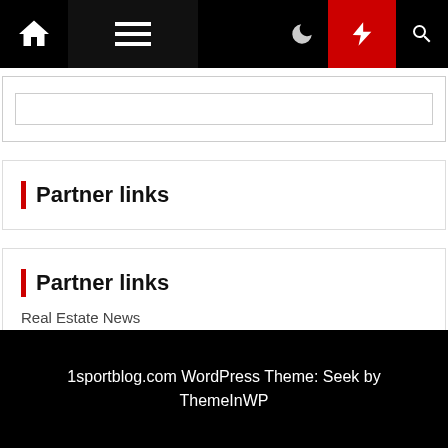[Figure (screenshot): Website navigation bar with home icon, hamburger menu, moon icon, red lightning bolt button, and search icon on black background]
[Figure (screenshot): Search input box, empty, with light grey border]
Partner links
Partner links
Real Estate News
1sportblog.com WordPress Theme: Seek by ThemeInWP